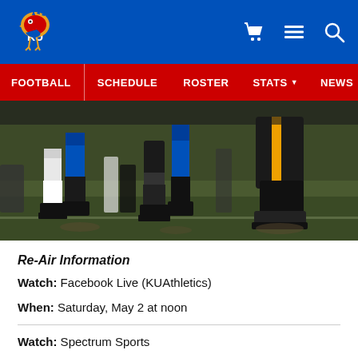KU Athletics - Football
[Figure (screenshot): KU Athletics website navigation bar with logo, cart, menu and search icons, and red nav bar with Football, Schedule, Roster, Stats, News, Tickets links]
[Figure (photo): Close-up photo of football players' legs and feet on a grass field during a game, showing cleats and uniforms]
Re-Air Information
Watch: Facebook Live (KUAthletics)
When: Saturday, May 2 at noon
Watch: Spectrum Sports
When: Saturday, May 2 at noon - 7:30 p.m.